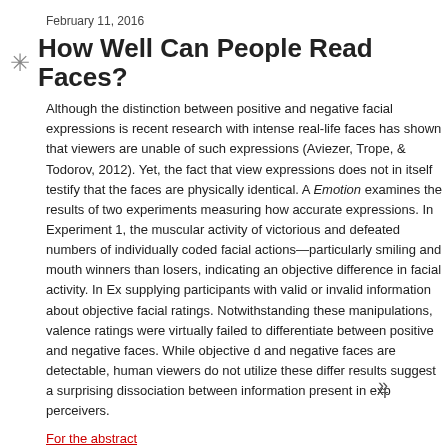February 11, 2016
How Well Can People Read Faces?
Although the distinction between positive and negative facial expressions is recent research with intense real-life faces has shown that viewers are unable of such expressions (Aviezer, Trope, & Todorov, 2012). Yet, the fact that viewers expressions does not in itself testify that the faces are physically identical. A Emotion examines the results of two experiments measuring how accurate expressions. In Experiment 1, the muscular activity of victorious and defeated numbers of individually coded facial actions—particularly smiling and mouth winners than losers, indicating an objective difference in facial activity. In Experiment 2, supplying participants with valid or invalid information about objective facial ratings. Notwithstanding these manipulations, valence ratings were virtually failed to differentiate between positive and negative faces. While objective differences and negative faces are detectable, human viewers do not utilize these differences results suggest a surprising dissociation between information present in expressions perceivers.
For the abstract
Posted at 08:00 AM in Current Affairs, Research in the News | Permalink | Comments
[Figure (screenshot): Social sharing buttons: Reblog (0), Digg This, Save to del.icio.us, Tweet]
»